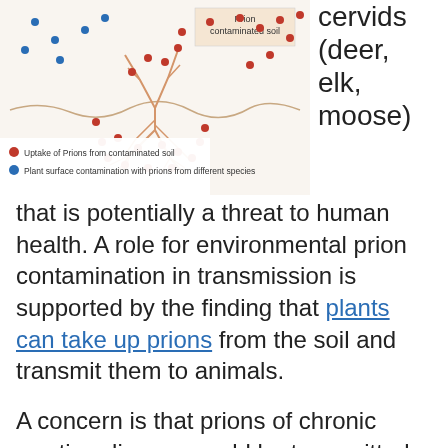[Figure (illustration): Diagram showing prion contaminated soil with plant roots, red dots indicating uptake of prions from contaminated soil, and blue dots indicating plant surface contamination with prions from different species. Legend at bottom left of figure.]
cervids (deer, elk, moose) that is potentially a threat to human health. A role for environmental prion contamination in transmission is supported by the finding that plants can take up prions from the soil and transmit them to animals.
A concern is that prions of chronic wasting disease could be transmitted to cows grazing in pastures contaminated by cervids. Consumption of infected cows would then pass the disease on to humans. When deer are fed prions they excrete them in the